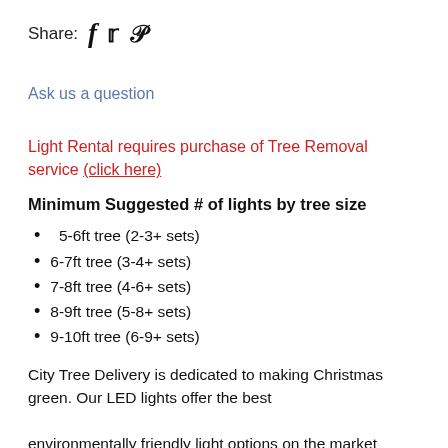Share: [facebook] [twitter] [pinterest]
Ask us a question
Light Rental requires purchase of Tree Removal service (click here)
Minimum Suggested # of lights by tree size
5-6ft tree (2-3+ sets)
6-7ft tree (3-4+ sets)
7-8ft tree (4-6+ sets)
8-9ft tree (5-8+ sets)
9-10ft tree (6-9+ sets)
City Tree Delivery is dedicated to making Christmas green. Our LED lights offer the best environmentally friendly light options on the market